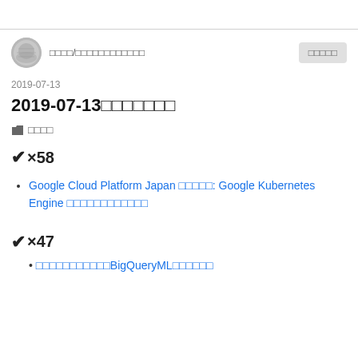□□□□/□□□□□□□□□□□□
□□□□□
2019-07-13
2019-07-13□□□□□□□
□□□□
✔×58
Google Cloud Platform Japan □□□□□: Google Kubernetes Engine □□□□□□□□□□□□
✔×47
□□□□□□□□□□□BigQueryML□□□□□□